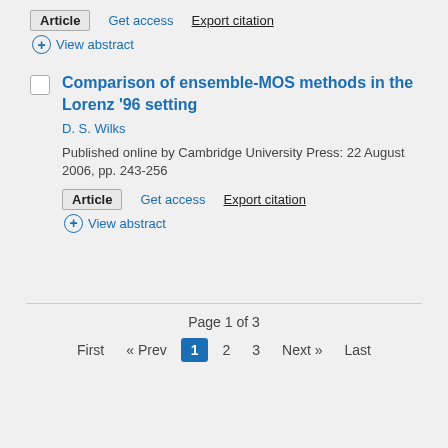Article  Get access  Export citation
View abstract
Comparison of ensemble-MOS methods in the Lorenz '96 setting
D. S. Wilks
Published online by Cambridge University Press: 22 August 2006, pp. 243-256
Article  Get access  Export citation
View abstract
Page 1 of 3  First « Prev 1 2 3 Next » Last